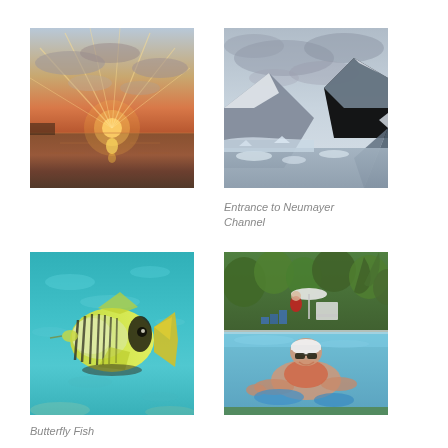[Figure (photo): Sunset over water with rays of light through clouds, horizon reflected in calm sea]
[Figure (photo): Entrance to Neumayer Channel - snow-capped mountains reflected in grey water under overcast sky]
Entrance to Neumayer Channel
[Figure (photo): Butterfly fish underwater in clear turquoise water, yellow and white with black stripes]
Butterfly Fish
[Figure (photo): Person relaxing in a swimming pool wearing a cap and sunglasses, poolside garden and equipment in background]